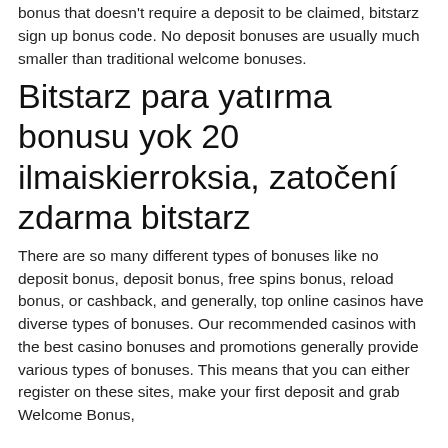bonus that doesn't require a deposit to be claimed, bitstarz sign up bonus code. No deposit bonuses are usually much smaller than traditional welcome bonuses.
Bitstarz para yatırma bonusu yok 20 ilmaiskierroksia, zatočení zdarma bitstarz
There are so many different types of bonuses like no deposit bonus, deposit bonus, free spins bonus, reload bonus, or cashback, and generally, top online casinos have diverse types of bonuses. Our recommended casinos with the best casino bonuses and promotions generally provide various types of bonuses. This means that you can either register on these sites, make your first deposit and grab Welcome Bonus, obtain a deposit bonus, redeem a no deposit